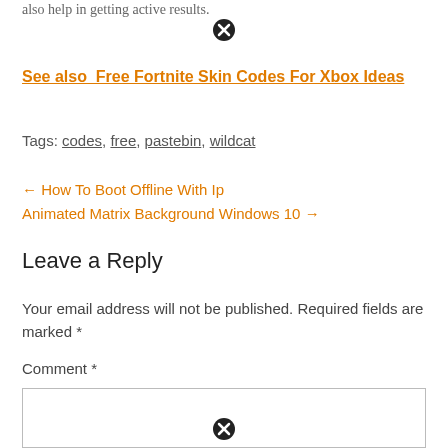also help in getting active results.
See also  Free Fortnite Skin Codes For Xbox Ideas
Tags: codes, free, pastebin, wildcat
← How To Boot Offline With Ip
Animated Matrix Background Windows 10 →
Leave a Reply
Your email address will not be published. Required fields are marked *
Comment *